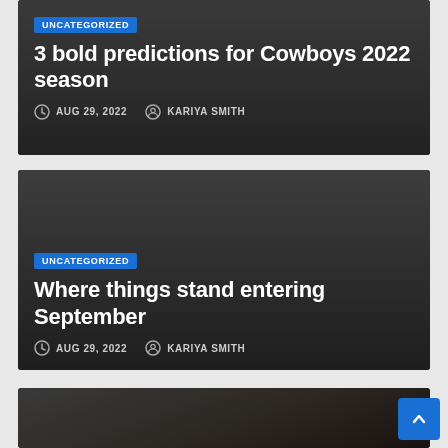[Figure (screenshot): Dark card with blog post: UNCATEGORIZED badge, title '3 bold predictions for Cowboys 2022 season', date AUG 29, 2022, author KARIYA SMITH]
[Figure (screenshot): Dark card with blog post: UNCATEGORIZED badge, title 'Where things stand entering September', date AUG 29, 2022, author KARIYA SMITH]
[Figure (photo): Partial photo of a baseball player at the bottom of the page]